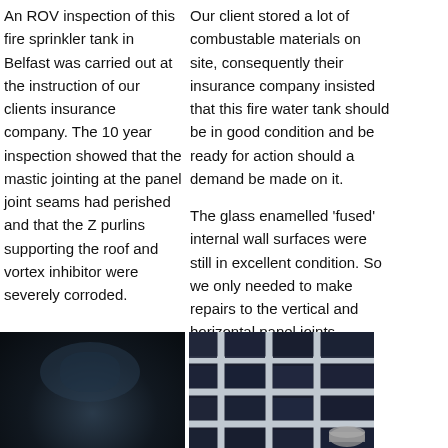An ROV inspection of this fire sprinkler tank in Belfast was carried out at the instruction of our clients insurance company. The 10 year inspection showed that the mastic jointing at the panel joint seams had perished and that the Z purlins supporting the roof and vortex inhibitor were severely corroded.
Our client stored a lot of combustable materials on site, consequently their insurance company insisted that this fire water tank should be in good condition and be ready for action should a demand be made on it.
The glass enamelled 'fused' internal wall surfaces were still in excellent condition. So we only needed to make repairs to the vertical and horizontal panel joints.
[Figure (photo): Dark interior photo of an ROV inspection inside a fire sprinkler tank showing corroded roof supports and fused internal wall surfaces.]
[Figure (photo): Photo showing glass enamelled panel joints inside the fire sprinkler tank, displaying the grid pattern of vertical and horizontal panel joints.]